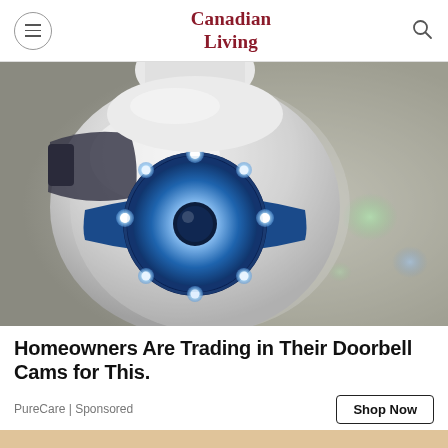Canadian Living
[Figure (photo): Close-up of a white PTZ security camera with glowing blue LED ring around the lens, viewed from below against a grey background]
Homeowners Are Trading in Their Doorbell Cams for This.
PureCare | Sponsored
Shop Now